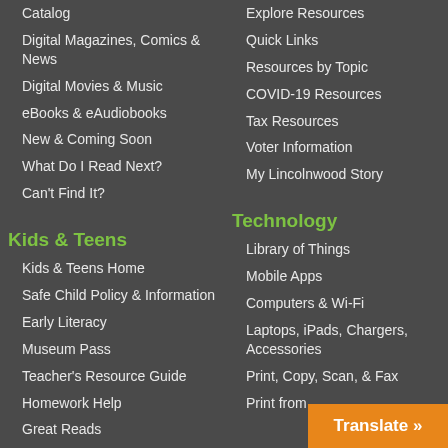Catalog
Digital Magazines, Comics & News
Digital Movies & Music
eBooks & eAudiobooks
New & Coming Soon
What Do I Read Next?
Can't Find It?
Explore Resources
Quick Links
Resources by Topic
COVID-19 Resources
Tax Resources
Voter Information
My Lincolnwood Story
Kids & Teens
Kids & Teens Home
Safe Child Policy & Information
Early Literacy
Museum Pass
Teacher's Resource Guide
Homework Help
Great Reads
Technology
Library of Things
Mobile Apps
Computers & Wi-Fi
Laptops, iPads, Chargers, Accessories
Print, Copy, Scan, & Fax
Print from...
Translate »